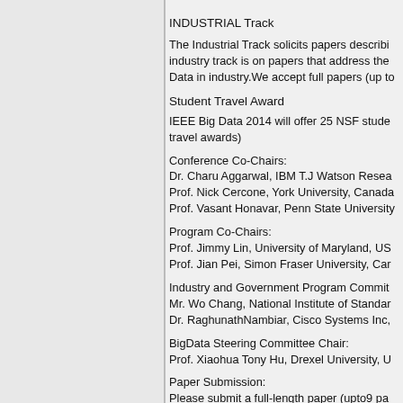INDUSTRIAL Track
The Industrial Track solicits papers describing industry track is on papers that address the Data in industry.We accept full papers (up to
Student Travel Award
IEEE Big Data 2014 will offer 25 NSF stude travel awards)
Conference Co-Chairs:
Dr. Charu Aggarwal, IBM T.J Watson Resea
Prof. Nick Cercone, York University, Canada
Prof. Vasant Honavar, Penn State University
Program Co-Chairs:
Prof. Jimmy Lin, University of Maryland, US
Prof. Jian Pei, Simon Fraser University, Car
Industry and Government Program Commit
Mr. Wo Chang, National Institute of Standar
Dr. RaghunathNambiar, Cisco Systems Inc,
BigData Steering Committee Chair:
Prof. Xiaohua Tony Hu, Drexel University, U
Paper Submission:
Please submit a full-length paper (upto9 pa